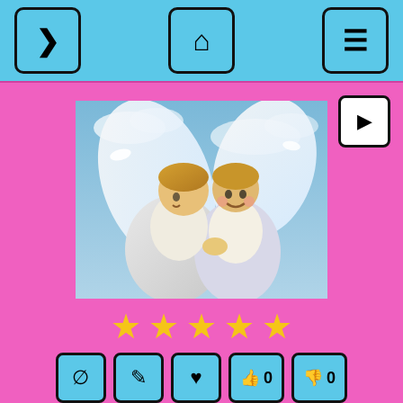Navigation bar with arrow, home, and menu buttons
[Figure (illustration): Two cherub angels in white robes with wings, one whispering to the other, painted in a soft pastel style with doves and blue sky background.]
★★★★★ (5 stars rating)
Action buttons: block, edit, heart/like, thumbs up 0, thumbs down 0
HTML  BB  Direct Link